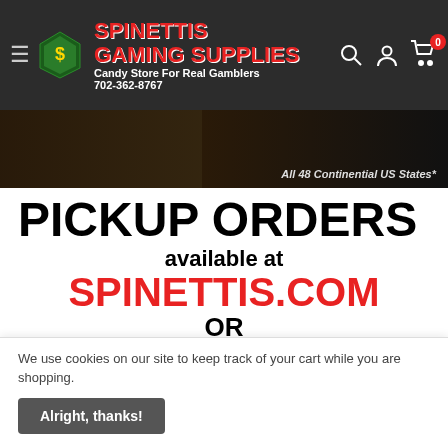Spinettis Gaming Supplies — Candy Store For Real Gamblers — 702-362-8767
[Figure (photo): Partial casino/gaming store banner image with text 'All 48 Continental US States*' on right side]
PICKUP ORDERS
available at
SPINETTIS.COM
OR
BY PHONE
702-362-8767
We use cookies on our site to keep track of your cart while you are shopping.